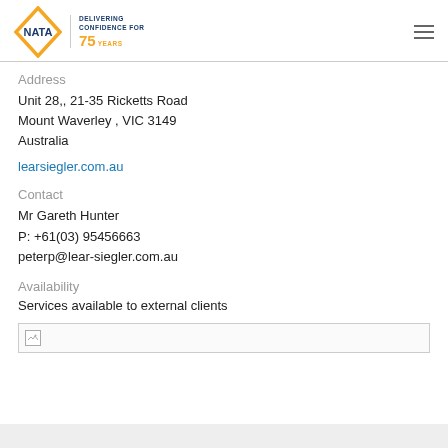[Figure (logo): NATA logo — orange diamond shape with NATA text in blue, with tagline 'DELIVERING CONFIDENCE FOR 75 YEARS']
Address
Unit 28,, 21-35 Ricketts Road
Mount Waverley , VIC 3149
Australia
learsiegler.com.au
Contact
Mr Gareth Hunter
P: +61(03) 95456663
peterp@lear-siegler.com.au
Availability
Services available to external clients
[Figure (other): Image placeholder with broken image icon]